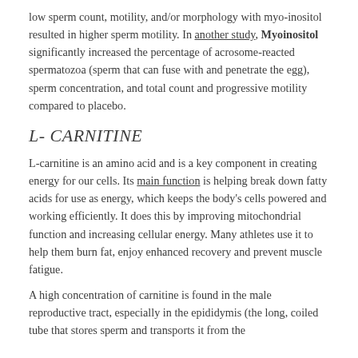low sperm count, motility, and/or morphology with myo-inositol resulted in higher sperm motility. In another study, Myoinositol significantly increased the percentage of acrosome-reacted spermatozoa (sperm that can fuse with and penetrate the egg), sperm concentration, and total count and progressive motility compared to placebo.
L- CARNITINE
L-carnitine is an amino acid and is a key component in creating energy for our cells. Its main function is helping break down fatty acids for use as energy, which keeps the body's cells powered and working efficiently. It does this by improving mitochondrial function and increasing cellular energy. Many athletes use it to help them burn fat, enjoy enhanced recovery and prevent muscle fatigue.
A high concentration of carnitine is found in the male reproductive tract, especially in the epididymis (the long, coiled tube that stores sperm and transports it from the